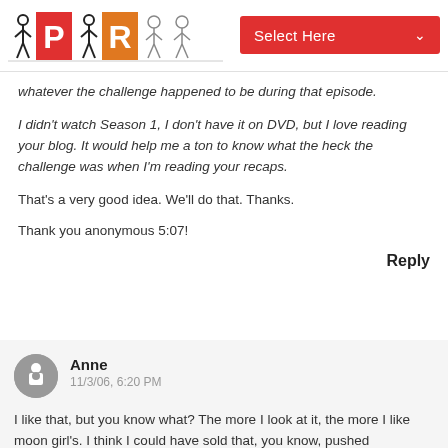PR [logo] | Select Here
whatever the challenge happened to be during that episode.
I didn't watch Season 1, I don't have it on DVD, but I love reading your blog. It would help me a ton to know what the heck the challenge was when I'm reading your recaps.
That's a very good idea. We'll do that. Thanks.
Thank you anonymous 5:07!
Reply
Anne
11/3/06, 6:20 PM
I like that, but you know what? The more I look at it, the more I like moon girl's. I think I could have sold that, you know, pushed